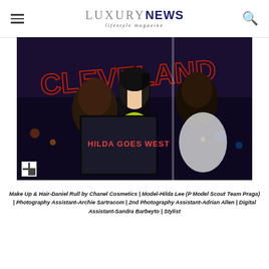Luxury NEWS lifestyle magazine
[Figure (photo): Magazine cover showing three people in a nighttime urban scene. Text on image reads 'HILDA GOES WEST'. Background shows neon sign reading 'CLEVELAND'. A woman with long black hair wearing a yellow-green outfit is in the center.]
Make Up & Hair-Daniel Rull by Chanel Cosmetics | Model-Hilda Lee (P Model Scout Team Praga) | Photography Assistant-Archie Sartracom | 2nd Photography Assistant-Adrian Allen | Digital Assistant-Sandra Barbeyto | Stylist